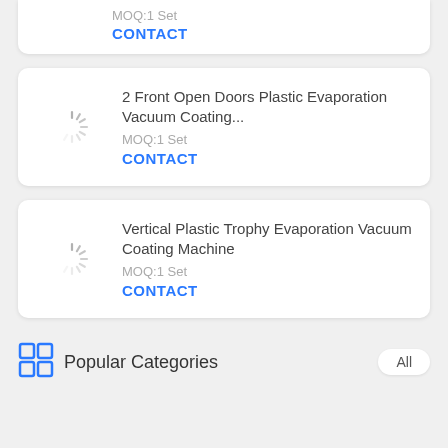CONTACT
2 Front Open Doors Plastic Evaporation Vacuum Coating...
MOQ:1 Set
CONTACT
Vertical Plastic Trophy Evaporation Vacuum Coating Machine
MOQ:1 Set
CONTACT
Popular Categories